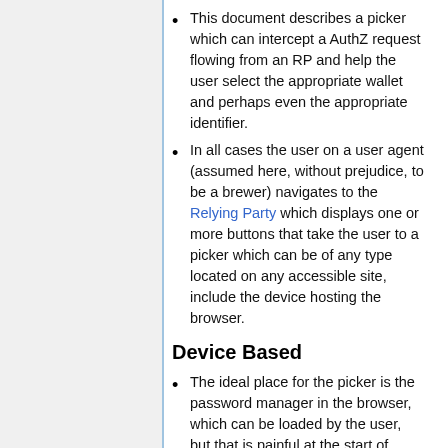This document describes a picker which can intercept a AuthZ request flowing from an RP and help the user select the appropriate wallet and perhaps even the appropriate identifier.
In all cases the user on a user agent (assumed here, without prejudice, to be a brewer) navigates to the Relying Party which displays one or more buttons that take the user to a picker which can be of any type located on any accessible site, include the device hosting the browser.
Device Based
The ideal place for the picker is the password manager in the browser, which can be loaded by the user, but that is painful at the start of 2021, so